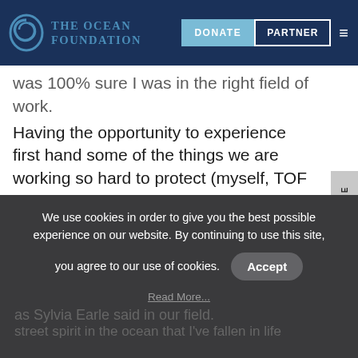THE OCEAN FOUNDATION | DONATE | PARTNER
was 100% sure I was in the right field of work. Having the opportunity to experience first hand some of the things we are working so hard to protect (myself, TOF and our community of donors), what my colleagues research and fight so hard for was inspiring and is inspiring.  I hope that through my work with The Ocean Foundation, I can inspire people learn more about the ocean, the issues it faces and what
We use cookies in order to give you the best possible experience on our website. By continuing to use this site, you agree to our use of cookies.
Accept
Read More...